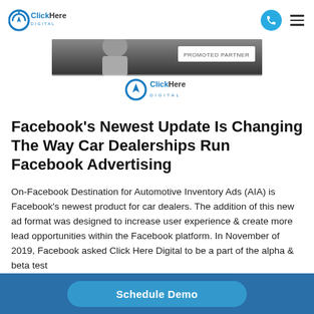ClickHere Digital — navigation header with logo, phone button, hamburger menu
[Figure (screenshot): Featured image showing a partial photo with 'PROMOTED PARTNER' label and ClickHere Digital logo below it]
Facebook's Newest Update Is Changing The Way Car Dealerships Run Facebook Advertising
On-Facebook Destination for Automotive Inventory Ads (AIA) is Facebook's newest product for car dealers. The addition of this new ad format was designed to increase user experience & create more lead opportunities within the Facebook platform. In November of 2019, Facebook asked Click Here Digital to be a part of the alpha & beta test
Schedule Demo